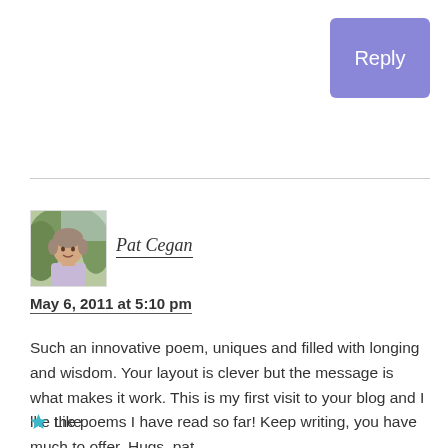Reply
[Figure (photo): Avatar photo of Pat Cegan, a woman with short hair outdoors]
Pat Cegan
May 6, 2011 at 5:10 pm
Such an innovative poem, uniques and filled with longing and wisdom. Your layout is clever but the message is what makes it work. This is my first visit to your blog and I lke the poems I have read so far! Keep writing, you have much to offer. Hugs, pat
Like